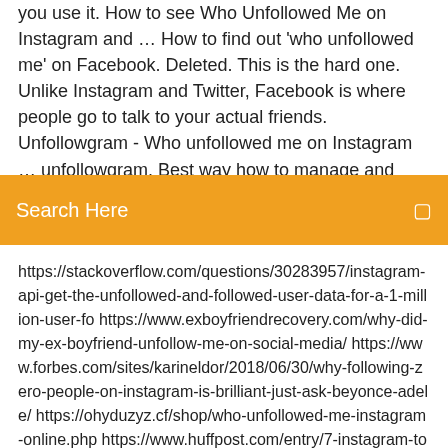you use it. How to see Who Unfollowed Me on Instagram and … How to find out 'who unfollowed me' on Facebook. Deleted. This is the hard one. Unlike Instagram and Twitter, Facebook is where people go to talk to your actual friends. Unfollowgram - Who unfollowed me on Instagram … unfollowgram. Best way how to manage and analyze your Twitter friends. Check who unfollow who and who don't follow back and many more of f
Search Here
https://stackoverflow.com/questions/30283957/instagram-api-get-the-unfollowed-and-followed-user-data-for-a-1-million-user-fo https://www.exboyfriendrecovery.com/why-did-my-ex-boyfriend-unfollow-me-on-social-media/ https://www.forbes.com/sites/karineldor/2018/06/30/why-following-zero-people-on-instagram-is-brilliant-just-ask-beyonce-adele/ https://ohyduzyz.cf/shop/who-unfollowed-me-instagram-online.php https://www.huffpost.com/entry/7-instagram-tools-your-bu_b_8886262